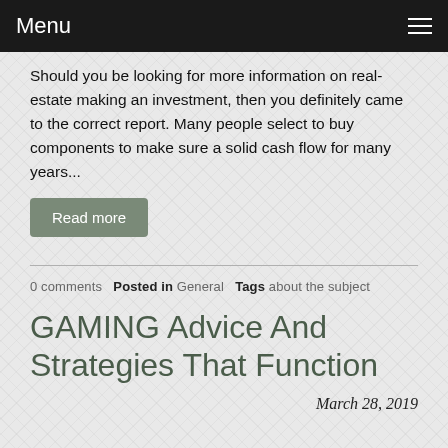Menu
Should you be looking for more information on real-estate making an investment, then you definitely came to the correct report. Many people select to buy components to make sure a solid cash flow for many years...
Read more
0 comments  Posted in General  Tags about the subject
GAMING Advice And Strategies That Function
March 28, 2019